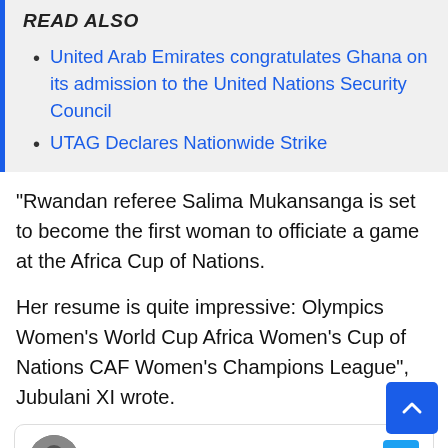READ ALSO
United Arab Emirates congratulates Ghana on its admission to the United Nations Security Council
UTAG Declares Nationwide Strike
“Rwandan referee Salima Mukansanga is set to become the first woman to officiate a game at the Africa Cup of Nations.
Her resume is quite impressive: Olympics Women’s World Cup Africa Women’s Cup of Nations CAF Women’s Champions League”, Jubulani XI wrote.
JABULANI XI